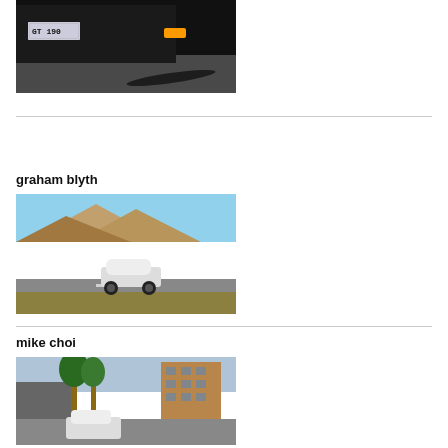[Figure (photo): Close-up of a dark car front with license plate GT 190, headlights visible, road in background]
graham blyth
[Figure (photo): White hatchback car parked on desert roadside with large rocky mountain/hill in background under blue sky]
mike choi
[Figure (photo): Street scene with palm trees, multi-story brown building, and vehicles on the road]